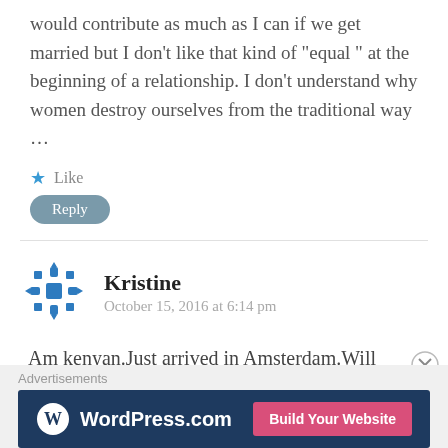would contribute as much as I can if we get married but I don't like that kind of “equal ” at the beginning of a relationship. I don’t understand why women destroy ourselves from the traditional way …
★ Like
Reply
Kristine
October 15, 2016 at 6:14 pm
Am kenyan.Just arrived in Amsterdam.Will come to confirm your hypothesis in due time.interesting insights tho.the height i have noted that too
Advertisements
[Figure (screenshot): WordPress.com advertisement banner with blue background and pink 'Build Your Website' button]